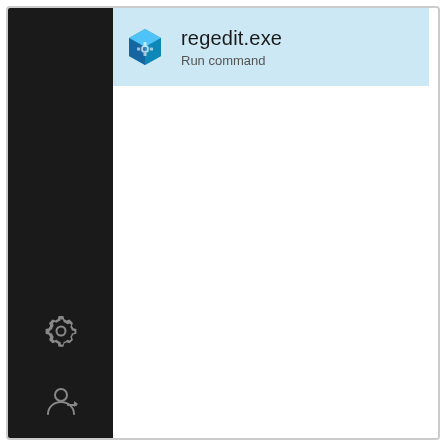[Figure (screenshot): Windows Start Menu / search result panel showing 'regedit.exe' as a Run command result, with a black left sidebar containing settings gear icon and user icon at bottom, and the result highlighted in light blue on the right content area.]